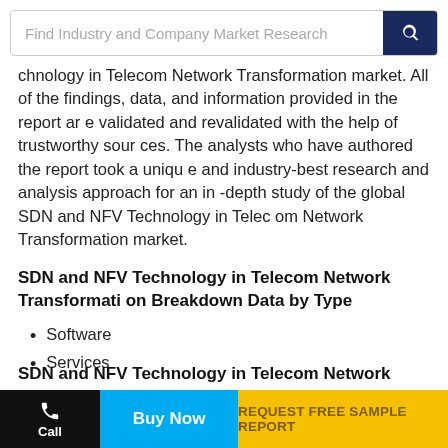[Figure (screenshot): Search bar with placeholder text 'Find Industry and Company Market Research' and a dark blue search button with magnifying glass icon]
chnology in Telecom Network Transformation market. All of the findings, data, and information provided in the report are validated and revalidated with the help of trustworthy sources. The analysts who have authored the report took a unique and industry-best research and analysis approach for an in-depth study of the global SDN and NFV Technology in Telecom Network Transformation market.
SDN and NFV Technology in Telecom Network Transformation Breakdown Data by Type
Software
Services
SDN and NFV Technology in Telecom Network Transformati
Call | Buy Now | REQUEST FREE SAMPLE REPORT